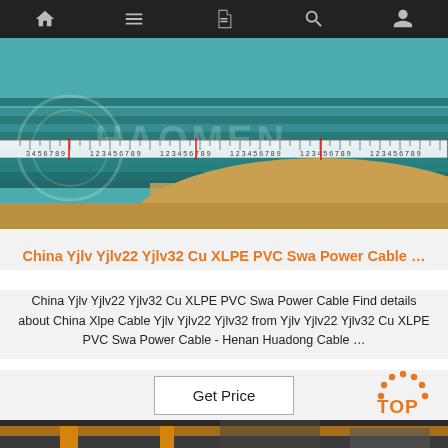[Figure (screenshot): Dark navigation bar with home, menu, document, search, and user account icons]
[Figure (photo): Stack of teal/turquoise colored cables or panels with a measuring tape across them, and a HAOMEN watermark. Cables rest on a golden/tan fabric background.]
China Yjlv Yjlv22 Yjlv32 Cu XLPE PVC Swa Power Cable ...
China Yjlv Yjlv22 Yjlv32 Cu XLPE PVC Swa Power Cable Find details about China Xlpe Cable Yjlv Yjlv22 Yjlv32 from Yjlv Yjlv22 Yjlv32 Cu XLPE PVC Swa Power Cable - Henan Huadong Cable …
[Figure (other): Get Price button and TOP badge icon (orange dotted arch above orange TOP text)]
[Figure (photo): Industrial factory interior with yellow overhead crane beams and machinery in background under dim lighting]